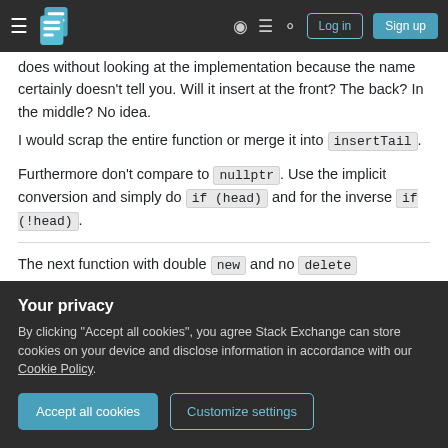Stack Exchange navigation bar with hamburger menu, logo, help, chat, search icons, Log in and Sign up buttons
does without looking at the implementation because the name certainly doesn't tell you. Will it insert at the front? The back? In the middle? No idea.
I would scrap the entire function or merge it into insertTail.
Furthermore don't compare to nullptr. Use the implicit conversion and simply do if (head) and for the inverse if (!head).
The next function with double new and no delete
Your privacy
By clicking "Accept all cookies", you agree Stack Exchange can store cookies on your device and disclose information in accordance with our Cookie Policy.
Accept all cookies   Customize settings